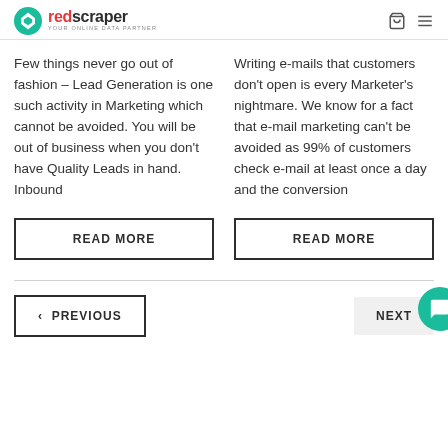redscraper YOUR ONLINE DATA PARTNER
Few things never go out of fashion – Lead Generation is one such activity in Marketing which cannot be avoided. You will be out of business when you don't have Quality Leads in hand. Inbound
Writing e-mails that customers don't open is every Marketer's nightmare. We know for a fact that e-mail marketing can't be avoided as 99% of customers check e-mail at least once a day and the conversion
READ MORE
READ MORE
< PREVIOUS
NEXT